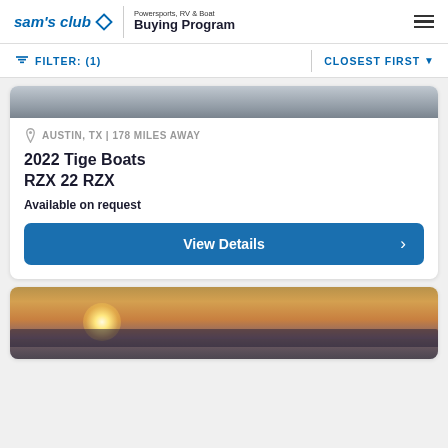sam's club ◇ | Powersports, RV & Boat Buying Program
FILTER: (1) | CLOSEST FIRST
[Figure (screenshot): Partial top of boat listing card showing a grey/water background image]
AUSTIN, TX | 178 miles away
2022 Tige Boats RZX 22 RZX
Available on request
View Details
[Figure (photo): Boat on water at sunset with warm golden sky and silhouetted landscape]